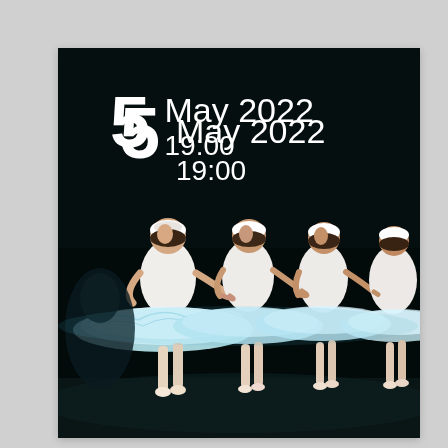[Figure (photo): Ballet performance photo showing four ballerinas in white swan tutus and white feathered headbands, holding hands in a line, performing on a dark stage. The scene is dramatically lit against a black background. Overlaid on the image is a date and time: '5 May 2022 19:00' in white text.]